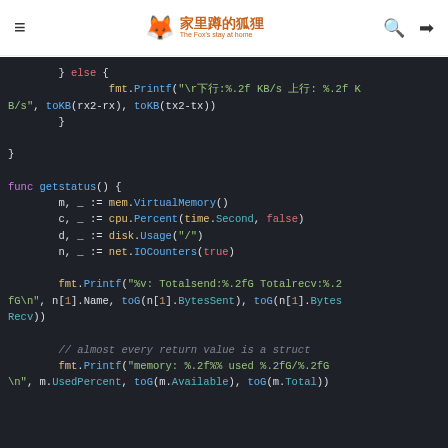家里蹲的狐狸 The Fox's stay at home
[Figure (screenshot): Code block showing Go language source code with syntax highlighting on dark background. Code includes partial else block with fmt.Printf for network KB/s, closing braces, func getstatus() with mem.VirtualMemory(), cpu.Percent(time.Second, false), disk.Usage("/"), net.IOCounters(true), fmt.Printf for Totalsend/Totalrecv, comment about struct return values, and fmt.Printf for memory usage.]